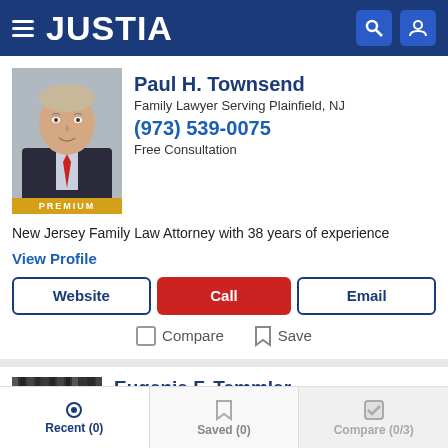JUSTIA
Paul H. Townsend
Family Lawyer Serving Plainfield, NJ
(973) 539-0075
Free Consultation
New Jersey Family Law Attorney with 38 years of experience
View Profile
Website | Call | Email
Compare  Save
Eugenie F. Temmler
Family Lawyer Serving Plainfield, NJ
Recent (0)  Saved (0)  Compare (0/3)